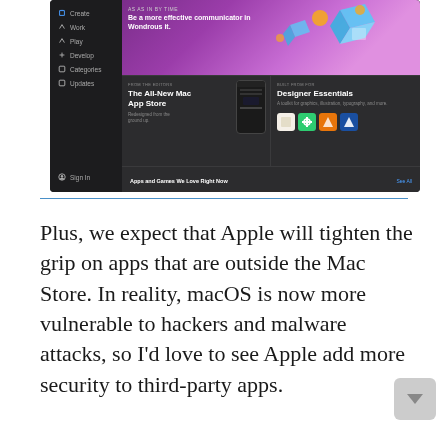[Figure (screenshot): Screenshot of the Mac App Store interface showing a dark sidebar with navigation items (Create, Work, Play, Develop, Categories, Updates), a hero banner with purple gradient and 3D shapes, featured sections including 'The All-New Mac App Store' and 'Designer Essentials', app icons, and 'Apps and Games We Love Right Now' section.]
Plus, we expect that Apple will tighten the grip on apps that are outside the Mac Store. In reality, macOS is now more vulnerable to hackers and malware attacks, so I'd love to see Apple add more security to third-party apps.